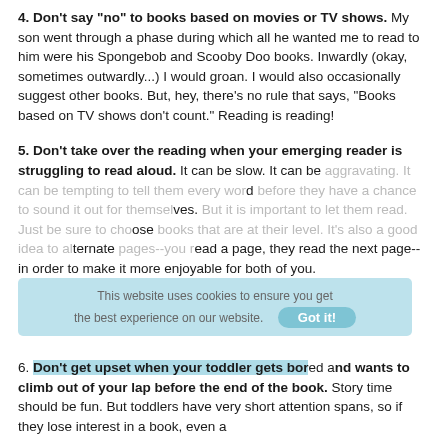4. Don't say "no" to books based on movies or TV shows. My son went through a phase during which all he wanted me to read to him were his Spongebob and Scooby Doo books. Inwardly (okay, sometimes outwardly...) I would groan. I would also occasionally suggest other books. But, hey, there's no rule that says, "Books based on TV shows don't count." Reading is reading!
5. Don't take over the reading when your emerging reader is struggling to read aloud. It can be slow. It can be aggravating. It can be tempting to tell them every word before they have a chance to sound it out for themselves. But it is important to let them read. Just be sure to choose books that are at their level. It's also a good idea to alternate pages--you read a page, they read the next page--in order to make it more enjoyable for both of you.
6. Don't get upset when your toddler gets bored and wants to climb out of your lap before the end of the book. Story time should be fun. But toddlers have very short attention spans, so if they lose interest in a book, even a